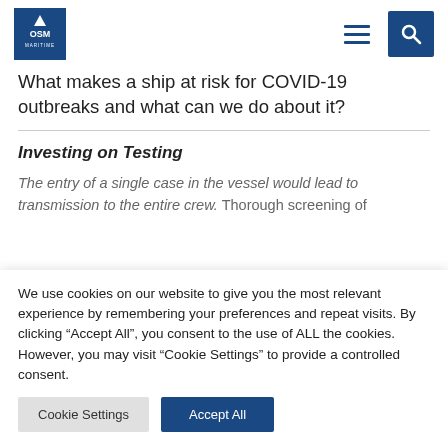OSM Maritime navigation header with logo, hamburger menu and search icon
What makes a ship at risk for COVID-19 outbreaks and what can we do about it?
Investing on Testing
The entry of a single case in the vessel would lead to transmission to the entire crew. Thorough screening of
We use cookies on our website to give you the most relevant experience by remembering your preferences and repeat visits. By clicking “Accept All”, you consent to the use of ALL the cookies. However, you may visit "Cookie Settings" to provide a controlled consent.